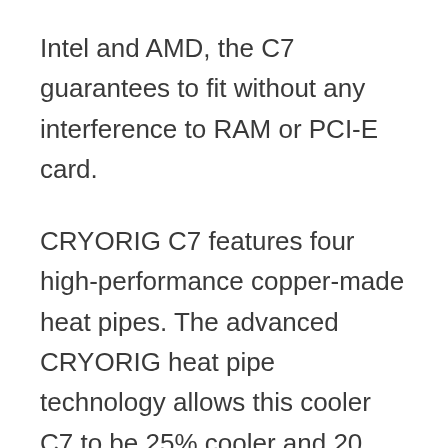Intel and AMD, the C7 guarantees to fit without any interference to RAM or PCI-E card.
CRYORIG C7 features four high-performance copper-made heat pipes. The advanced CRYORIG heat pipe technology allows this cooler C7 to be 25% cooler and 20 percent quiet than other models.
C7 is a super-compact cooler as much as it can with its 92mm fan built with CRYORIG's patented Quad Air Inlet System that allows